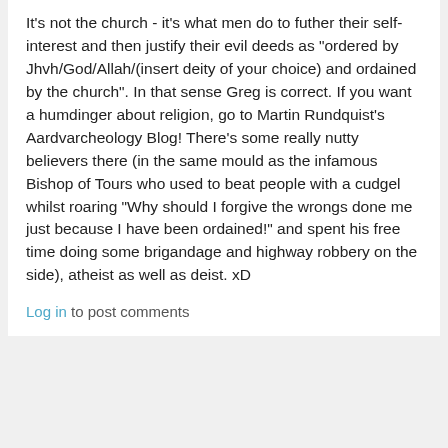It's not the church - it's what men do to futher their self-interest and then justify their evil deeds as "ordered by Jhvh/God/Allah/(insert deity of your choice) and ordained by the church". In that sense Greg is correct. If you want a humdinger about religion, go to Martin Rundquist's Aardvarcheology Blog! There's some really nutty believers there (in the same mould as the infamous Bishop of Tours who used to beat people with a cudgel whilst roaring "Why should I forgive the wrongs done me just because I have been ordained!" and spent his free time doing some brigandage and highway robbery on the side), atheist as well as deist. xD
Log in to post comments
By Henrik, Swe (not verified) on 15 Jun 2010
#permalink
[Figure (illustration): Generic user avatar icon in blue/grey color]